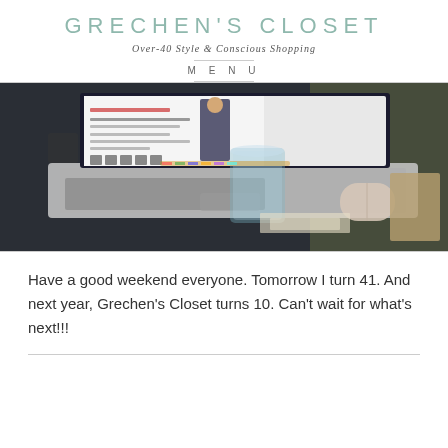GRECHEN'S CLOSET
Over-40 Style & Conscious Shopping
MENU
[Figure (photo): A laptop computer on a dark desk showing a fashion website with a woman in a black dress, with a glass of water and a wireless mouse beside it.]
Have a good weekend everyone. Tomorrow I turn 41. And next year, Grechen's Closet turns 10. Can't wait for what's next!!!